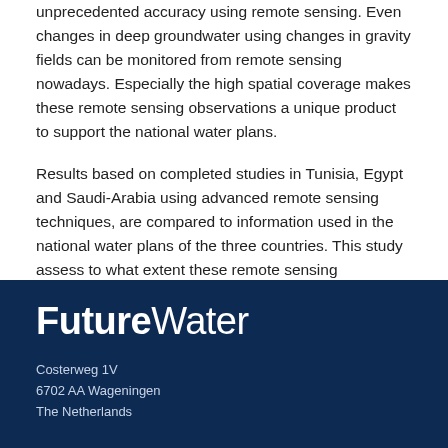unprecedented accuracy using remote sensing. Even changes in deep groundwater using changes in gravity fields can be monitored from remote sensing nowadays. Especially the high spatial coverage makes these remote sensing observations a unique product to support the national water plans.
Results based on completed studies in Tunisia, Egypt and Saudi-Arabia using advanced remote sensing techniques, are compared to information used in the national water plans of the three countries. This study assess to what extent these remote sensing observations can support the development of national water plans, improve the understanding of resource availability, better assess where water is consumed, and identify where losses are avoidable.
[Figure (logo): FutureWater company logo in white text on dark navy blue background]
Costerweg 1V
6702 AA Wageningen
The Netherlands